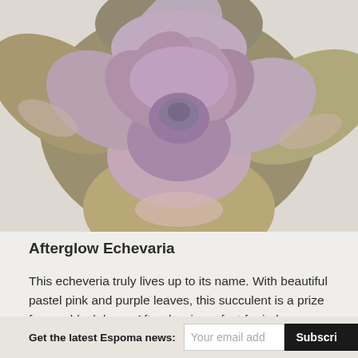[Figure (photo): Close-up photograph of an Afterglow Echeveria succulent with pastel pink and purple leaves arranged in a rosette pattern, viewed from above against a light background.]
Afterglow Echevaria
This echeveria truly lives up to its name. With beautiful pastel pink and purple leaves, this succulent is a prize for any blush lover. Afterglow is perfect for indoor or outdoor containers. When growing succulents in containers, be sure to use Espoma's Cactus Mix for best results.
Get the latest Espoma news: [email input] [Subscribe button]